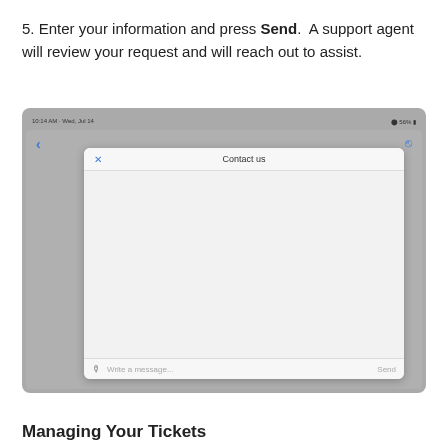5. Enter your information and press Send.  A support agent will review your request and will reach out to assist.
[Figure (screenshot): iPad screenshot showing a 'Contact us' modal dialog with a close (X) button, a text input area with 'Write a message...' placeholder, and a Send button.]
Managing Your Tickets